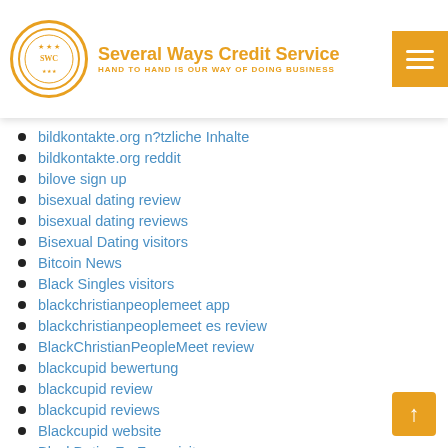Several Ways Credit Service — HAND TO HAND IS OUR WAY OF DOING BUSINESS
bildkontakte.org n?tzliche Inhalte
bildkontakte.org reddit
bilove sign up
bisexual dating review
bisexual dating reviews
Bisexual Dating visitors
Bitcoin News
Black Singles visitors
blackchristianpeoplemeet app
blackchristianpeoplemeet es review
BlackChristianPeopleMeet review
blackcupid bewertung
blackcupid review
blackcupid reviews
Blackcupid website
BlackDatingForFree visitors
blackdatingforfree.com reviews
blackdatingforfree.com search
Blackfling login